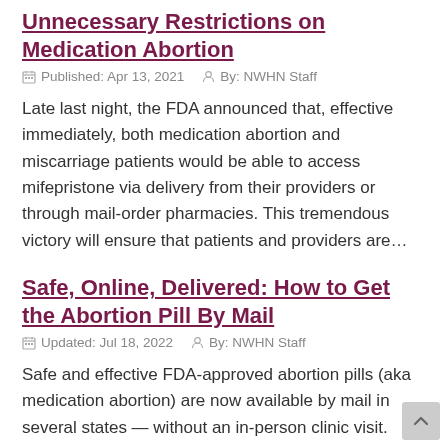Unnecessary Restrictions on Medication Abortion
Published: Apr 13, 2021   By: NWHN Staff
Late last night, the FDA announced that, effective immediately, both medication abortion and miscarriage patients would be able to access mifepristone via delivery from their providers or through mail-order pharmacies. This tremendous victory will ensure that patients and providers are…
Safe, Online, Delivered: How to Get the Abortion Pill By Mail
Updated: Jul 18, 2022   By: NWHN Staff
Safe and effective FDA-approved abortion pills (aka medication abortion) are now available by mail in several states — without an in-person clinic visit.